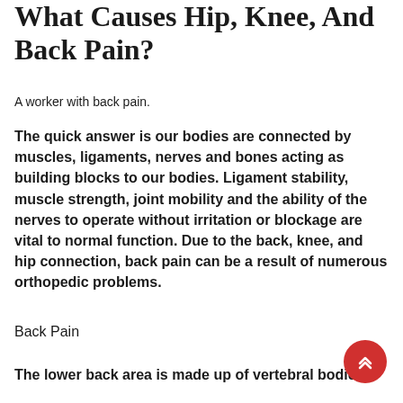What Causes Hip, Knee, And Back Pain?
A worker with back pain.
The quick answer is our bodies are connected by muscles, ligaments, nerves and bones acting as building blocks to our bodies. Ligament stability, muscle strength, joint mobility and the ability of the nerves to operate without irritation or blockage are vital to normal function. Due to the back, knee, and hip connection, back pain can be a result of numerous orthopedic problems.
Back Pain
The lower back area is made up of vertebral bodies,